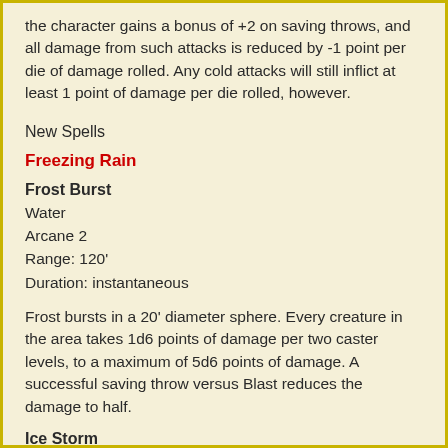the character gains a bonus of +2 on saving throws, and all damage from such attacks is reduced by -1 point per die of damage rolled. Any cold attacks will still inflict at least 1 point of damage per die rolled, however.
New Spells
Freezing Rain
Frost Burst
Water
Arcane 2
Range: 120'
Duration: instantaneous
Frost bursts in a 20' diameter sphere. Every creature in the area takes 1d6 points of damage per two caster levels, to a maximum of 5d6 points of damage. A successful saving throw versus Blast reduces the damage to half.
Ice Storm